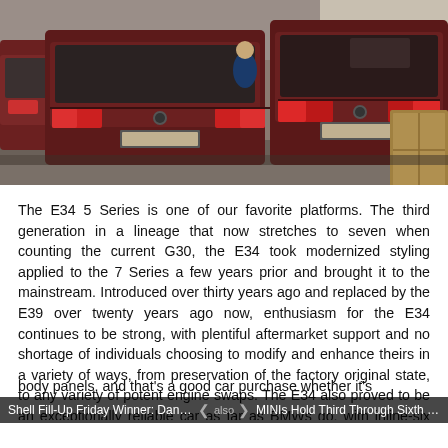[Figure (photo): Multiple dark red/maroon BMW E34 5 Series cars parked inside what appears to be a garage or warehouse space. The cars are viewed from the rear. Natural light visible in background.]
The E34 5 Series is one of our favorite platforms. The third generation in a lineage that now stretches to seven when counting the current G30, the E34 took modernized styling applied to the 7 Series a few years prior and brought it to the mainstream. Introduced over thirty years ago and replaced by the E39 over twenty years ago now, enthusiasm for the E34 continues to be strong, with plentiful aftermarket support and no shortage of individuals choosing to modify and enhance theirs in a variety of ways, from preservation of the factory original state, to any variety of potent engine swaps. The E34 also proved to be an exceptionally reliable car as far as BMWs go, with inline-six powered types commonly surpassing the 250,000 mile mark. A well put together interior and an array of robust drivetrains are among the reasons why many E34s last so long and remain on the road
Shell Fill-Up Friday Winner: Dan W...  |  <  >  |  MINIs Hold Third Through Sixth Sp...